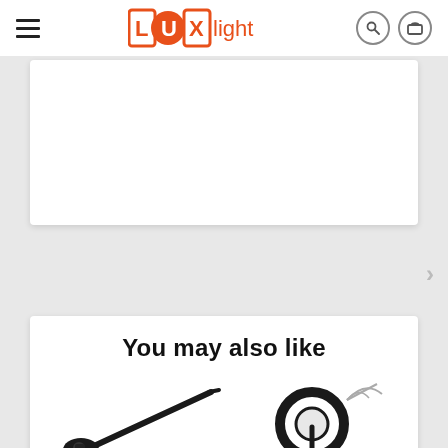[Figure (logo): LUXlight logo in orange with stylized letters L, U, X in boxes and circle, followed by 'light' text]
[Figure (screenshot): Partially visible white product card at the top of a product page]
[Figure (screenshot): Grey carousel area with a right-arrow navigation chevron on the right side]
You may also like
[Figure (photo): Two product thumbnails at the bottom: left shows a black boom arm/extension pole for lighting; right shows a circular ring light with an umbrella diffuser attachment]